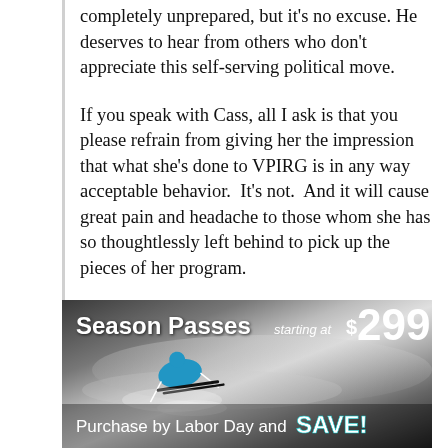completely unprepared, but it's no excuse. He deserves to hear from others who don't appreciate this self-serving political move.
If you speak with Cass, all I ask is that you please refrain from giving her the impression that what she's done to VPIRG is in any way acceptable behavior.  It's not.  And it will cause great pain and headache to those whom she has so thoughtlessly left behind to pick up the pieces of her program.
Let me know if you have any questions.
[Figure (infographic): Advertisement banner for season ski passes starting at $299. Shows skier on snowy slope. Text reads 'Season Passes starting at $299' and 'Purchase by Labor Day and SAVE!']